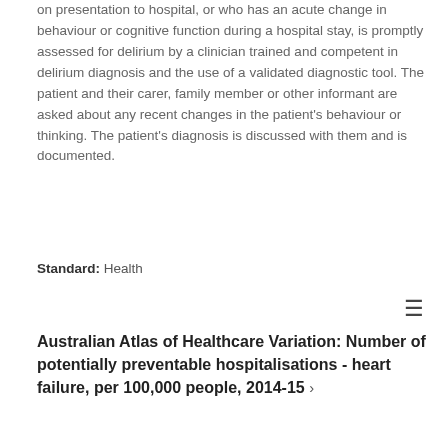on presentation to hospital, or who has an acute change in behaviour or cognitive function during a hospital stay, is promptly assessed for delirium by a clinician trained and competent in delirium diagnosis and the use of a validated diagnostic tool. The patient and their carer, family member or other informant are asked about any recent changes in the patient's behaviour or thinking. The patient's diagnosis is discussed with them and is documented.
Standard: Health
Australian Atlas of Healthcare Variation: Number of potentially preventable hospitalisations - heart failure, per 100,000 people, 2014-15 ›